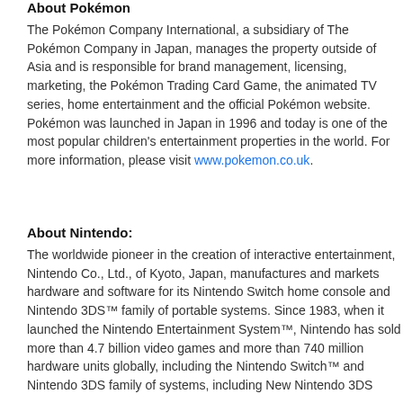About Pokémon
The Pokémon Company International, a subsidiary of The Pokémon Company in Japan, manages the property outside of Asia and is responsible for brand management, licensing, marketing, the Pokémon Trading Card Game, the animated TV series, home entertainment and the official Pokémon website. Pokémon was launched in Japan in 1996 and today is one of the most popular children's entertainment properties in the world. For more information, please visit www.pokemon.co.uk.
About Nintendo:
The worldwide pioneer in the creation of interactive entertainment, Nintendo Co., Ltd., of Kyoto, Japan, manufactures and markets hardware and software for its Nintendo Switch home console and Nintendo 3DS™ family of portable systems. Since 1983, when it launched the Nintendo Entertainment System™, Nintendo has sold more than 4.7 billion video games and more than 740 million hardware units globally, including the Nintendo Switch™ and Nintendo 3DS family of systems, including New Nintendo 3DS